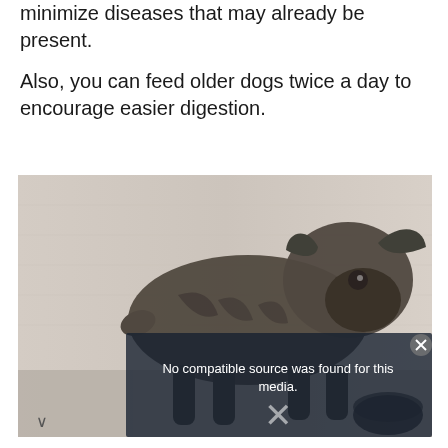minimize diseases that may already be present.
Also, you can feed older dogs twice a day to encourage easier digestion.
[Figure (photo): A dark brindle French bulldog standing and looking downward, with a video player error overlay reading 'No compatible source was found for this media.' and an X button, partially covering the lower portion of the image. A small chevron arrow is visible at the bottom left.]